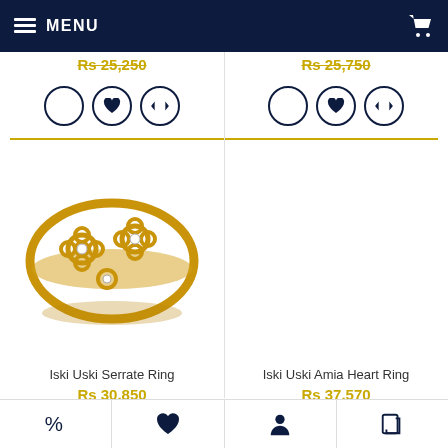MENU
Rs 25,250 / Rs 25,750 (partially visible, cut off at top)
[Figure (photo): Iski Uski Serrate Ring - gold floral filigree ring with small diamond accents]
[Figure (photo): Iski Uski Amia Heart Ring - gold ring with diamond-studded cross and curved band]
Iski Uski Serrate Ring
Rs 30,850
Iski Uski Amia Heart Ring
Rs 37,570
% | heart | person | share